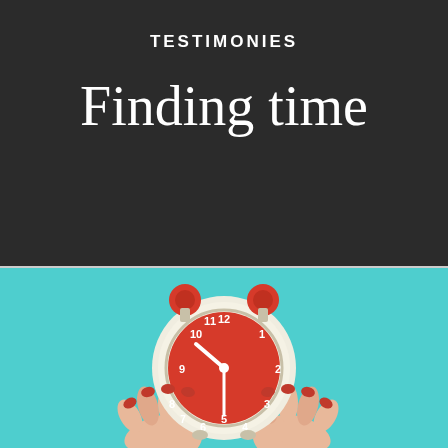TESTIMONIES
Finding time
[Figure (photo): A person holding up a red vintage alarm clock with both hands against a bright turquoise/teal background. The clock is a classic double-bell alarm clock with a cream/beige body and red face showing numbers 1-12 and clock hands.]